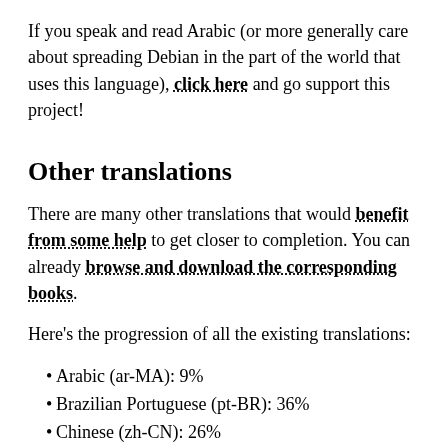If you speak and read Arabic (or more generally care about spreading Debian in the part of the world that uses this language), click here and go support this project!
Other translations
There are many other translations that would benefit from some help to get closer to completion. You can already browse and download the corresponding books.
Here’s the progression of all the existing translations:
Arabic (ar-MA): 9%
Brazilian Portuguese (pt-BR): 36%
Chinese (zh-CN): 26%